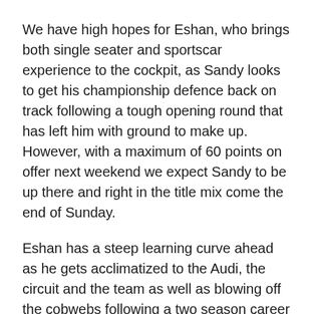We have high hopes for Eshan, who brings both single seater and sportscar experience to the cockpit, as Sandy looks to get his championship defence back on track following a tough opening round that has left him with ground to make up. However, with a maximum of 60 points on offer next weekend we expect Sandy to be up there and right in the title mix come the end of Sunday.
Eshan has a steep learning curve ahead as he gets acclimatized to the Audi, the circuit and the team as well as blowing off the cobwebs following a two season career hiatus due to the Covid-19 pandemic.
In Super Car GTM Warren Adulayavichitr, who did a great job on his GTM debut in Round 1, continues in our Bentley GT3 GTM class. As the newest class, this will